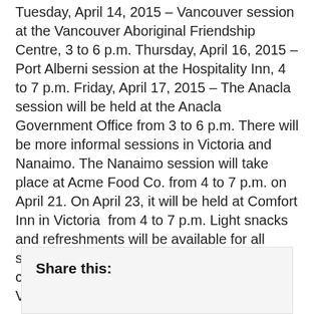Tuesday, April 14, 2015 – Vancouver session at the Vancouver Aboriginal Friendship Centre, 3 to 6 p.m. Thursday, April 16, 2015 – Port Alberni session at the Hospitality Inn, 4 to 7 p.m. Friday, April 17, 2015 – The Anacla session will be held at the Anacla Government Office from 3 to 6 p.m. There will be more informal sessions in Victoria and Nanaimo. The Nanaimo session will take place at Acme Food Co. from 4 to 7 p.m. on April 21. On April 23, it will be held at Comfort Inn in Victoria  from 4 to 7 p.m. Light snacks and refreshments will be available for all sessions so come join us for food and conversation. Childminding is available in Vancouver, Port Alberni and Anacla.
Share this: